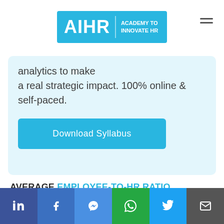AIHR | ACADEMY TO INNOVATE HR
analytics to make a real strategic impact. 100% online & self-paced.
Download Syllabus
AVERAGE EMPLOYEE-TO-HR RATIO
[Figure (bar-chart): AVERAGE EMPLOYEE-TO-HR RATIO]
LinkedIn | Facebook | Messenger | WhatsApp | Twitter | Email